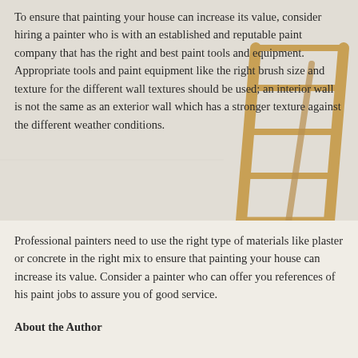To ensure that painting your house can increase its value, consider hiring a painter who is with an established and reputable paint company that has the right and best paint tools and equipment. Appropriate tools and paint equipment like the right brush size and texture for the different wall textures should be used; an interior wall is not the same as an exterior wall which has a stronger texture against the different weather conditions.
[Figure (photo): Photo of a wooden ladder leaning against a white wall with painting supplies, paint bucket visible at the base]
Professional painters need to use the right type of materials like plaster or concrete in the right mix to ensure that painting your house can increase its value. Consider a painter who can offer you references of his paint jobs to assure you of good service.
About the Author